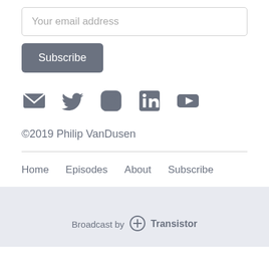Your email address
Subscribe
[Figure (illustration): Social media icons: email, Twitter, Instagram, LinkedIn, YouTube]
©2019 Philip VanDusen
Home   Episodes   About   Subscribe
Broadcast by Transistor